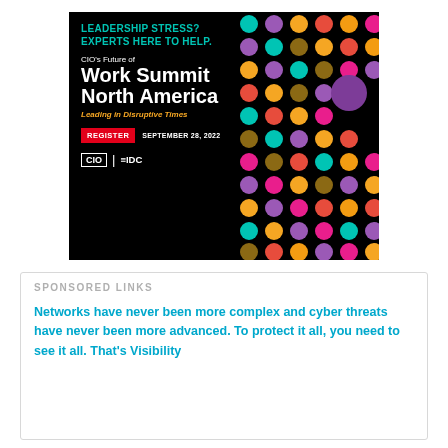[Figure (illustration): Advertisement banner on black background with colorful dot grid pattern. Shows 'LEADERSHIP STRESS? EXPERTS HERE TO HELP.' in teal, 'CIO's Future of Work Summit North America' in white, 'Leading in Disruptive Times' in orange italic, a red REGISTER button with 'SEPTEMBER 28, 2022', and CIO | IDC logos.]
SPONSORED LINKS
Networks have never been more complex and cyber threats have never been more advanced. To protect it all, you need to see it all. That's Visibility